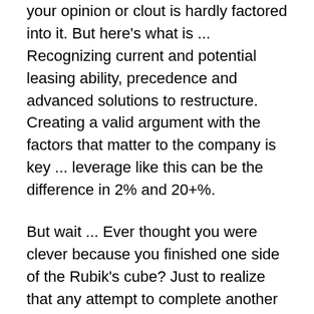your opinion or clout is hardly factored into it. But here's what is ... Recognizing current and potential leasing ability, precedence and advanced solutions to restructure. Creating a valid argument with the factors that matter to the company is key ... leverage like this can be the difference in 2% and 20+%.
But wait ... Ever thought you were clever because you finished one side of the Rubik's cube? Just to realize that any attempt to complete another side would destroy the hard work you put into the finished side. This, my friends, is what insurance has become. Every single piece you change is affecting another piece. You cannot move exactly one piece of a Rubik's cube without subsequently moving several additional pieces.